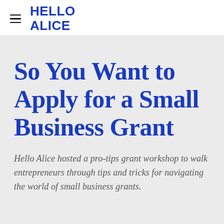HELLO ALICE
So You Want to Apply for a Small Business Grant
Hello Alice hosted a pro-tips grant workshop to walk entrepreneurs through tips and tricks for navigating the world of small business grants.